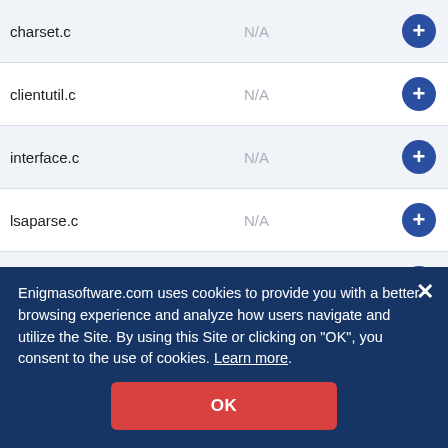| Filename | Version | Action |
| --- | --- | --- |
| charset.c | N/A | + |
| clientutil.c | N/A | + |
| interface.c | N/A | + |
| lsaparse.c | N/A | + |
| namequery.c | N/A | + |
| ntclient.c | N/A | + |
| ntclientpipe.c | N/A | + |
| pcap.c | N/A | + |
| pipetlsc | N/A | + |
Enigmasoftware.com uses cookies to provide you with a better browsing experience and analyze how users navigate and utilize the Site. By using this Site or clicking on "OK", you consent to the use of cookies. Learn more.